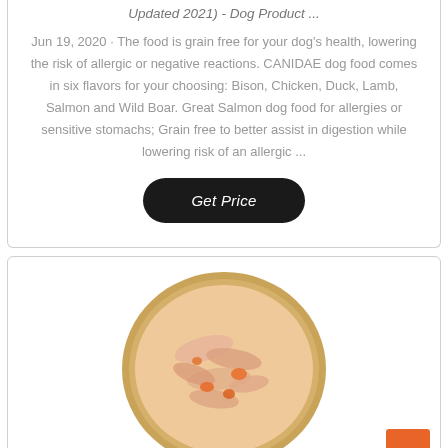Updated 2021) - Dog Product ...
Jun 19, 2020 · The food is grain free for your dog's health, lowering the risk of allergic or negative reactions. CANIDAE dog food comes in six flavors for your choosing: Bison, Chicken, Duck, Lamb, Salmon and Wild Boar. Great Salmon dog food for allergies or sensitive stomachs; Grain free to better assist in digestion while lowering risk of an allergic ...
Get Price
[Figure (photo): A round can of salmon dog food with a gold rim, showing shredded salmon and orange vegetable pieces inside.]